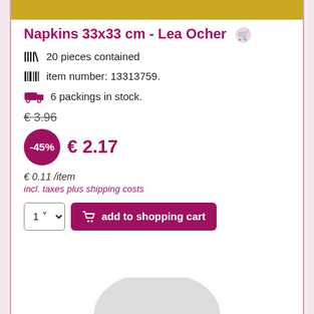[Figure (photo): Gold/ochre colored product image strip at top]
Napkins 33x33 cm - Lea Ocher
20 pieces contained
item number: 13313759.
6 packings in stock.
€ 3.96
-45%  € 2.17
€ 0.11 /item
incl. taxes plus shipping costs
1  add to shopping cart
[Figure (photo): Partial circular product image at bottom of page]